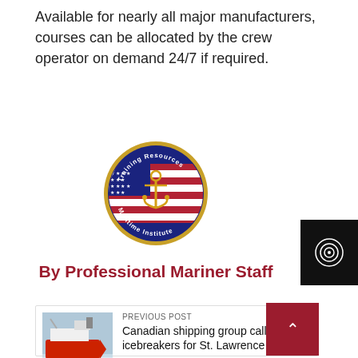Available for nearly all major manufacturers, courses can be allocated by the crew operator on demand 24/7 if required.
[Figure (logo): Training Resources Maritime Institute circular logo with anchor and US flag motif, gold border, navy background]
By Professional Mariner Staff
PREVIOUS POST
[Figure (photo): Photo of a red and white icebreaker ship in icy waters]
Canadian shipping group call for new icebreakers for St. Lawrence